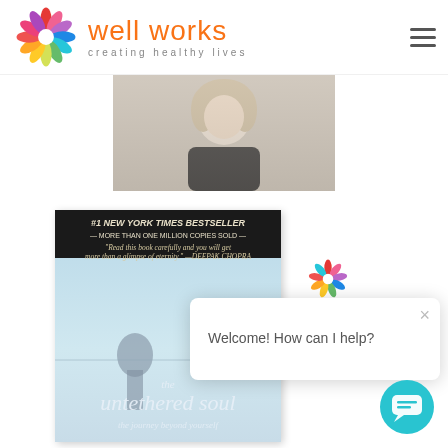[Figure (logo): Well Works logo with colorful flower and text 'well works creating healthy lives']
[Figure (photo): Portrait photo of a woman with blonde hair wearing a black top]
[Figure (photo): Book cover of 'The Untethered Soul - the journey beyond yourself', #1 New York Times Bestseller, more than one million copies sold, with Deepak Chopra quote]
Welcome! How can I help?
[Figure (logo): Well Works colorful flower logo in chat widget]
[Figure (illustration): Teal circular chat button with speech bubble icon]